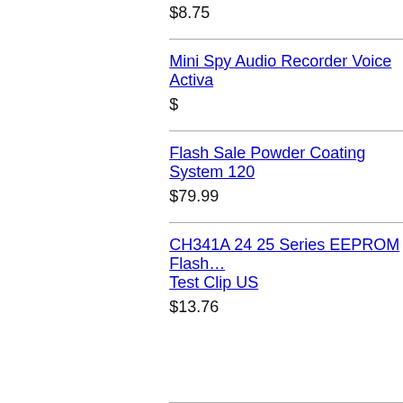$8.75
Mini Spy Audio Recorder Voice Activa…
$
Flash Sale Powder Coating System 120…
$79.99
CH341A 24 25 Series EEPROM Flash… Test Clip US
$13.76